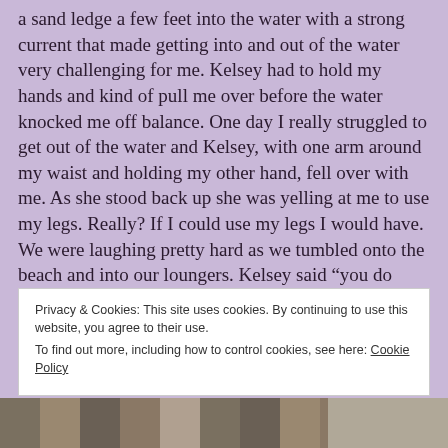a sand ledge a few feet into the water with a strong current that made getting into and out of the water very challenging for me. Kelsey had to hold my hands and kind of pull me over before the water knocked me off balance. One day I really struggled to get out of the water and Kelsey, with one arm around my waist and holding my other hand, fell over with me. As she stood back up she was yelling at me to use my legs. Really? If I could use my legs I would have. We were laughing pretty hard as we tumbled onto the beach and into our loungers. Kelsey said “you do know that everyone here thinks we are the drunkest couple on the
Privacy & Cookies: This site uses cookies. By continuing to use this website, you agree to their use.
To find out more, including how to control cookies, see here: Cookie Policy
Close and accept
[Figure (photo): Bottom strip showing partial photos, appears to be travel/outdoor images]